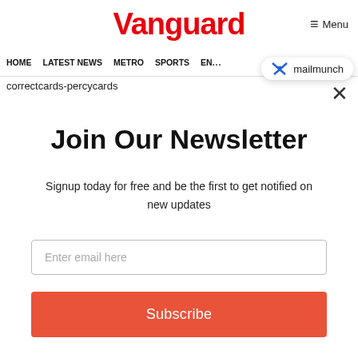Vanguard
Menu
HOME   LATEST NEWS   METRO   SPORTS   EN...
correctcards-percycards
mailmunch
Join Our Newsletter
Signup today for free and be the first to get notified on new updates
Enter email here
Subscribe